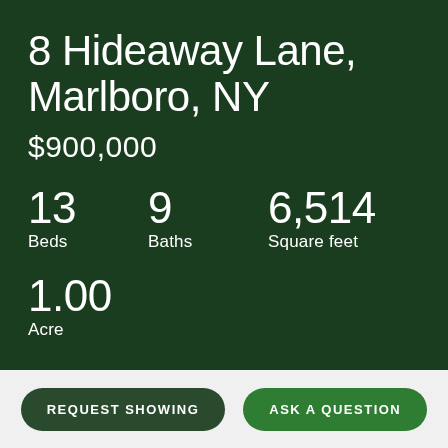8 Hideaway Lane, Marlboro, NY
$900,000
13 Beds
9 Baths
6,514 Square feet
1.00 Acre
REQUEST SHOWING
ASK A QUESTION